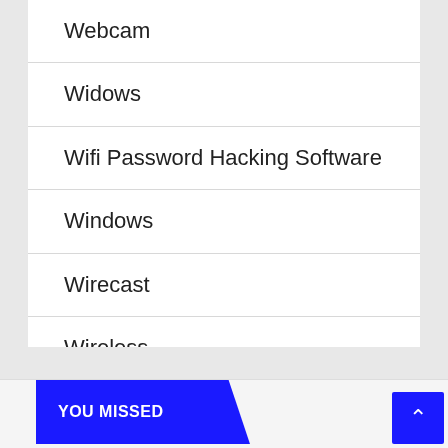Webcam
Widows
Wifi Password Hacking Software
Windows
Wirecast
Wireless
YOU MISSED